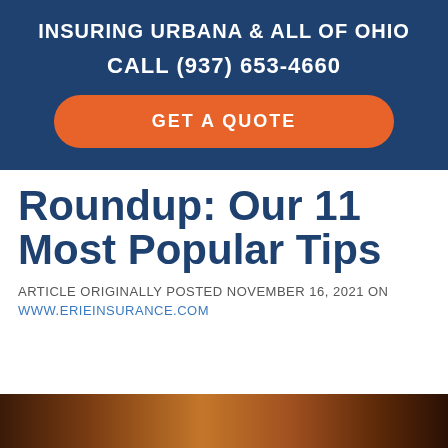INSURING URBANA & ALL OF OHIO
CALL (937) 653-4660
GET A QUOTE
Roundup: Our 11 Most Popular Tips
ARTICLE ORIGINALLY POSTED NOVEMBER 16, 2021 ON WWW.ERIEINSURANCE.COM
[Figure (photo): Dark warm-toned photo of a person, partially visible at bottom of page]